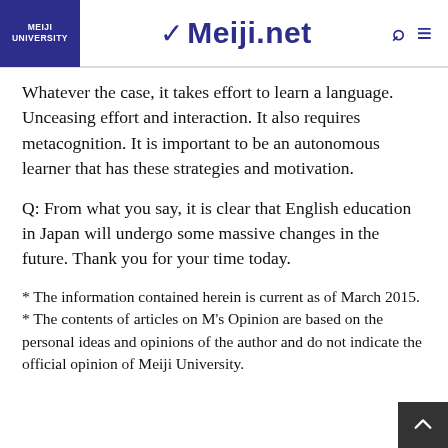MEIJI UNIVERSITY | Meiji.net
Whatever the case, it takes effort to learn a language. Unceasing effort and interaction. It also requires metacognition. It is important to be an autonomous learner that has these strategies and motivation.
Q: From what you say, it is clear that English education in Japan will undergo some massive changes in the future. Thank you for your time today.
* The information contained herein is current as of March 2015.
* The contents of articles on M's Opinion are based on the personal ideas and opinions of the author and do not indicate the official opinion of Meiji University.